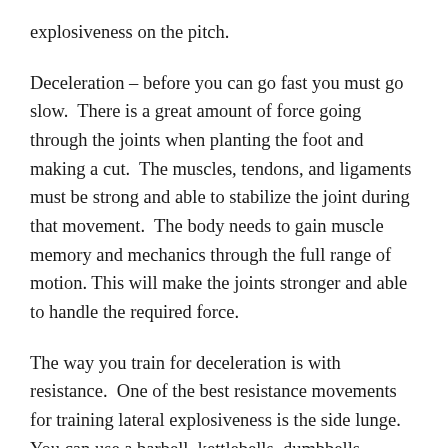explosiveness on the pitch.
Deceleration – before you can go fast you must go slow.  There is a great amount of force going through the joints when planting the foot and making a cut.  The muscles, tendons, and ligaments must be strong and able to stabilize the joint during that movement.  The body needs to gain muscle memory and mechanics through the full range of motion. This will make the joints stronger and able to handle the required force.
The way you train for deceleration is with resistance.  One of the best resistance movements for training lateral explosiveness is the side lunge.  You can use a barbell, kettlebells, dumbbells, sandbags, etc. The key with the side lunge is to make that step and then slowly lower down under control.  By going slow, you are teaching the muscles in your leg and joints how to properly control the body and stabilize the joint during a lateral movement. If you are using a challenging weight it